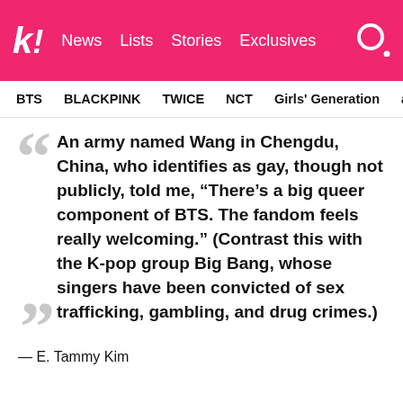k! News Lists Stories Exclusives
BTS  BLACKPINK  TWICE  NCT  Girls' Generation  aespa
An army named Wang in Chengdu, China, who identifies as gay, though not publicly, told me, “There’s a big queer component of BTS. The fandom feels really welcoming.” (Contrast this with the K-pop group Big Bang, whose singers have been convicted of sex trafficking, gambling, and drug crimes.)
— E. Tammy Kim